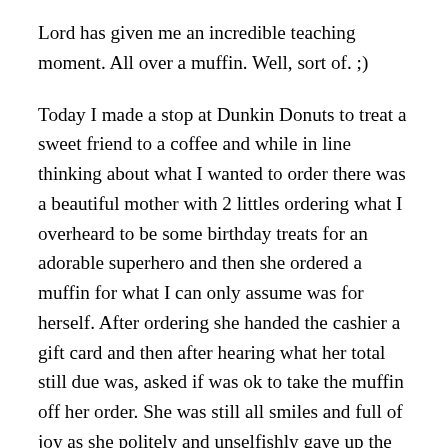Lord has given me an incredible teaching moment. All over a muffin. Well, sort of. ;)
Today I made a stop at Dunkin Donuts to treat a sweet friend to a coffee and while in line thinking about what I wanted to order there was a beautiful mother with 2 littles ordering what I overheard to be some birthday treats for an adorable superhero and then she ordered a muffin for what I can only assume was for herself. After ordering she handed the cashier a gift card and then after hearing what her total still due was, asked if was ok to take the muffin off her order. She was still all smiles and full of joy as she politely and unselfishly gave up the muffin. It was in that moment that I started to imagine the